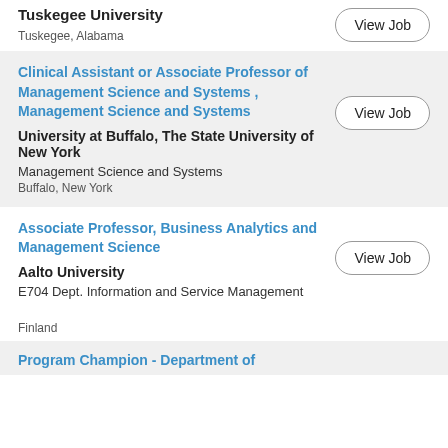Tuskegee University
Tuskegee, Alabama
Clinical Assistant or Associate Professor of Management Science and Systems , Management Science and Systems
University at Buffalo, The State University of New York
Management Science and Systems
Buffalo, New York
Associate Professor, Business Analytics and Management Science
Aalto University
E704 Dept. Information and Service Management
Finland
Program Champion - Department of